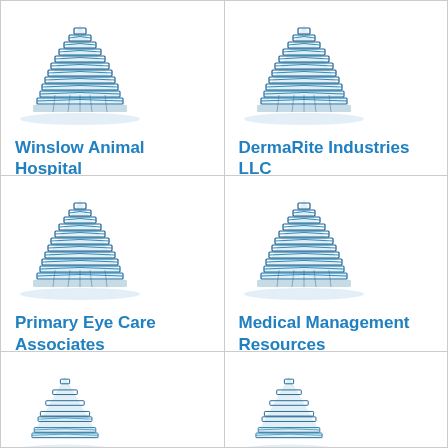[Figure (logo): Building icon for Winslow Animal Hospital]
Winslow Animal Hospital
[Figure (logo): Building icon for DermaRite Industries LLC]
DermaRite Industries LLC
[Figure (logo): Building icon for Primary Eye Care Associates]
Primary Eye Care Associates
[Figure (logo): Building icon for Medical Management Resources]
Medical Management Resources
[Figure (logo): Building icon (partial, bottom row left)]
[Figure (logo): Building icon (partial, bottom row right)]